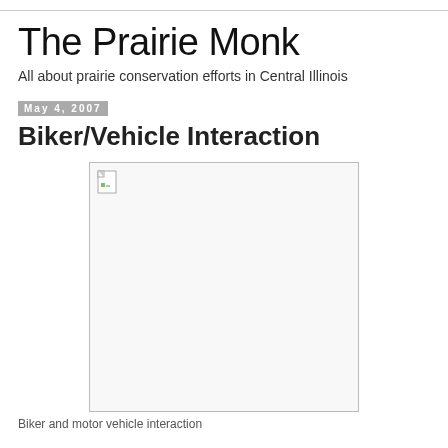The Prairie Monk
All about prairie conservation efforts in Central Illinois
May 4, 2007
Biker/Vehicle Interaction
[Figure (photo): Broken/missing image placeholder showing biker and motor vehicle interaction]
Biker and motor vehicle interaction